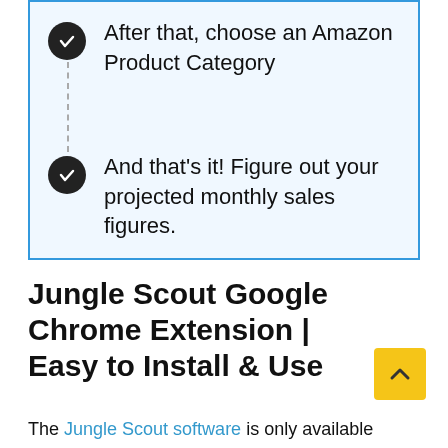After that, choose an Amazon Product Category
And that's it! Figure out your projected monthly sales figures.
Jungle Scout Google Chrome Extension | Easy to Install & Use
The Jungle Scout software is only available